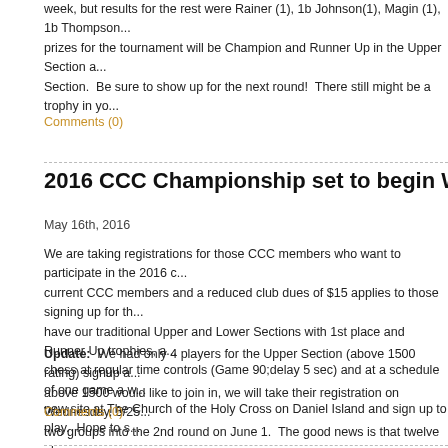week, but results for the rest were Rainer (1), 1b Johnson(1), Magin (1), 1b Thompson... prizes for the tournament will be Champion and Runner Up in the Upper Section and Section. Be sure to show up for the next round! There still might be a trophy in yo
Comments (0)
2016 CCC Championship set to begin Wednesday,
May 16th, 2016
We are taking registrations for those CCC members who want to participate in the 2016 current CCC members and a reduced club dues of $15 applies to those signing up for the have our traditional Upper and Lower Sections with 1st place and Runner Up trophies, a chess at regular time controls (Game 90;delay 5 sec) and at a schedule of one game a w new site at The Church of the Holy Cross on Daniel Island and sign up to play. Hope to s
Update: We had only 4 players for the Upper Section (above 1500 rating) signup a above 1500 would like to join in, we will take their registration on Wednesday, 5/25. two groups into the 2nd round on June 1. The good news is that twelve players a their 1st round Wednesday night. Their 2nd round will be played next Wednesday,
Comments (0)